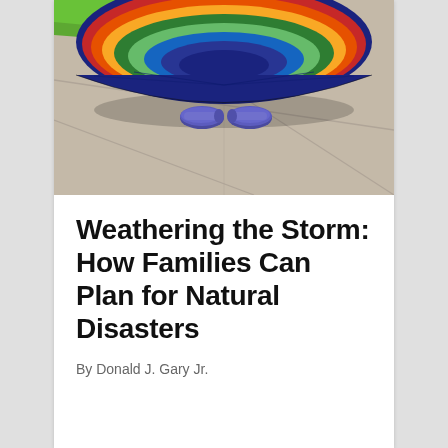[Figure (photo): A colorful rainbow striped umbrella seen from above on a concrete patio, with a child's blue sparkly shoes visible underneath the umbrella]
Weathering the Storm: How Families Can Plan for Natural Disasters
By Donald J. Gary Jr.